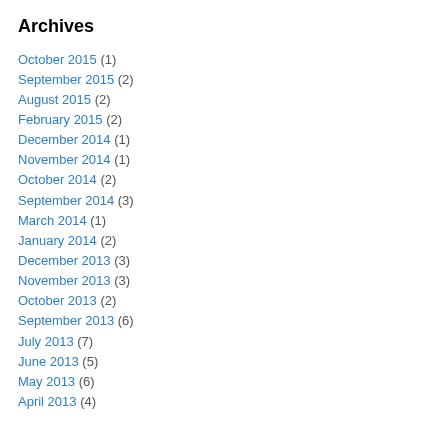Archives
October 2015 (1)
September 2015 (2)
August 2015 (2)
February 2015 (2)
December 2014 (1)
November 2014 (1)
October 2014 (2)
September 2014 (3)
March 2014 (1)
January 2014 (2)
December 2013 (3)
November 2013 (3)
October 2013 (2)
September 2013 (6)
July 2013 (7)
June 2013 (5)
May 2013 (6)
April 2013 (4)